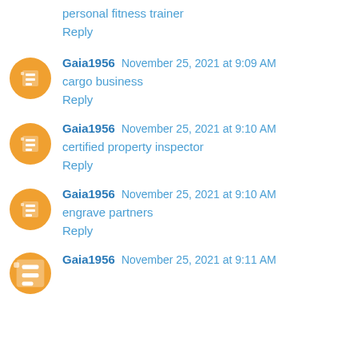personal fitness trainer
Reply
Gaia1956  November 25, 2021 at 9:09 AM
cargo business
Reply
Gaia1956  November 25, 2021 at 9:10 AM
certified property inspector
Reply
Gaia1956  November 25, 2021 at 9:10 AM
engrave partners
Reply
Gaia1956  November 25, 2021 at 9:11 AM